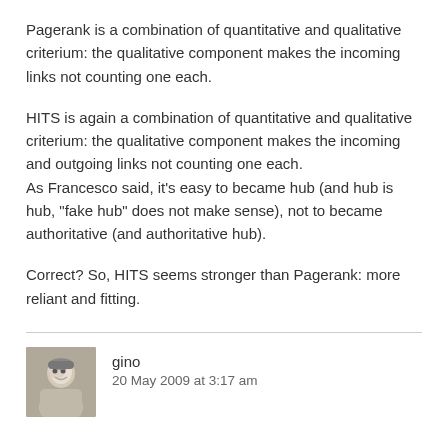Pagerank is a combination of quantitative and qualitative criterium: the qualitative component makes the incoming links not counting one each.
HITS is again a combination of quantitative and qualitative criterium: the qualitative component makes the incoming and outgoing links not counting one each.
As Francesco said, it’s easy to became hub (and hub is hub, “fake hub” does not make sense), not to became authoritative (and authoritative hub).
Correct? So, HITS seems stronger than Pagerank: more reliant and fitting.
gino
20 May 2009 at 3:17 am